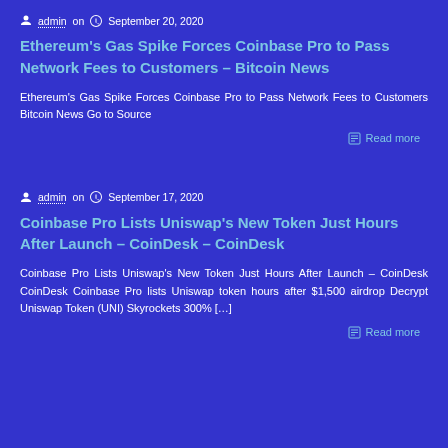admin on  September 20, 2020
Ethereum's Gas Spike Forces Coinbase Pro to Pass Network Fees to Customers – Bitcoin News
Ethereum's Gas Spike Forces Coinbase Pro to Pass Network Fees to Customers  Bitcoin News Go to Source
Read more
admin on  September 17, 2020
Coinbase Pro Lists Uniswap's New Token Just Hours After Launch – CoinDesk – CoinDesk
Coinbase Pro Lists Uniswap's New Token Just Hours After Launch – CoinDesk  CoinDesk Coinbase Pro lists Uniswap token hours after $1,500 airdrop  Decrypt Uniswap Token (UNI) Skyrockets 300% […]
Read more